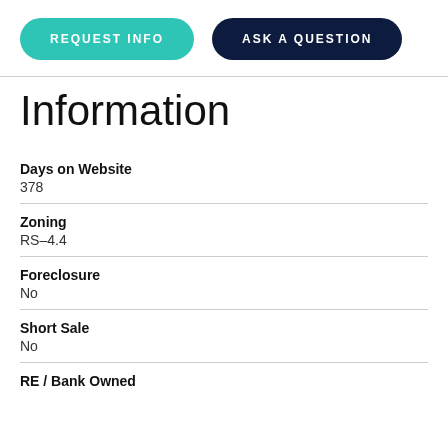[Figure (other): Two buttons: REQUEST INFO (teal/cyan rounded button) and ASK A QUESTION (dark navy rounded button)]
Information
| Days on Website | 378 |
| Zoning | RS-4.4 |
| Foreclosure | No |
| Short Sale | No |
| RE / Bank Owned |  |